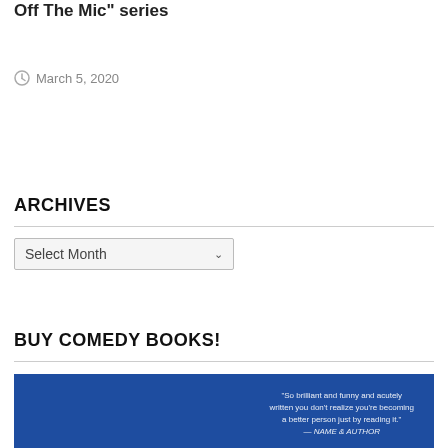Off The Mic" series
March 5, 2020
ARCHIVES
Select Month
BUY COMEDY BOOKS!
[Figure (photo): Blue book cover with a white quote text: 'So brilliant and funny and acutely written you don't realize you're becoming a better person just by reading it.' — name attribution]